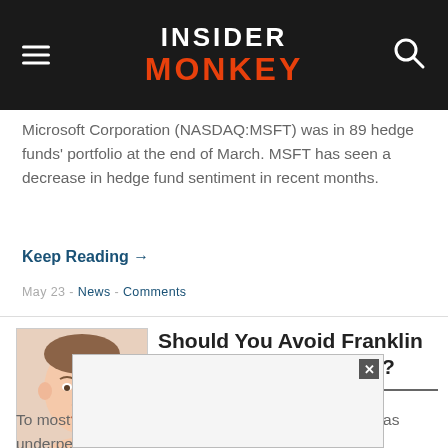INSIDER MONKEY
Microsoft Corporation (NASDAQ:MSFT) was in 89 hedge funds' portfolio at the end of March. MSFT has seen a decrease in hedge fund sentiment in recent months.
Keep Reading →
May 23 - News - Comments
[Figure (photo): Author headshot photo of a man in a pink shirt]
Should You Avoid Franklin Financial Corp (FRNK)?
To most market participants, hedge funds are viewed as underperforming, old financial tools